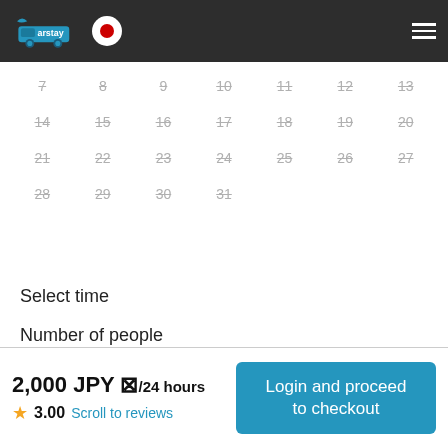Carstay header with logo and Japan flag icon
[Figure (screenshot): Calendar grid showing days 7-31 with strikethrough styling indicating unavailable dates]
Select time
Number of people
Adults  −  0  +
2,000 JPY ⊠/24 hours ★ 3.00 Scroll to reviews  |  Login and proceed to checkout